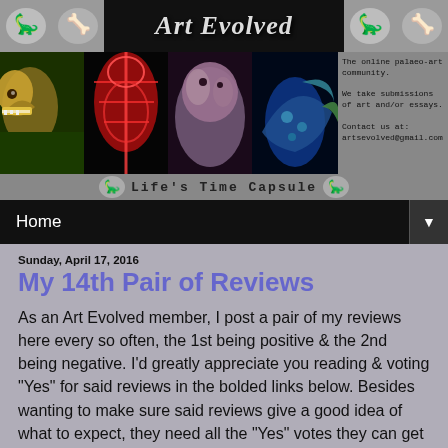[Figure (screenshot): Art Evolved website header banner with dinosaur skull icons, Art Evolved title in stylized font, dinosaur images (T-rex, skeleton, sauropod, colored dinosaur), and site description text. Subtitle reads: Life's Time Capsule.]
Home ▼
Sunday, April 17, 2016
My 14th Pair of Reviews
As an Art Evolved member, I post a pair of my reviews here every so often, the 1st being positive & the 2nd being negative. I'd greatly appreciate you reading & voting "Yes" for said reviews in the bolded links below. Besides wanting to make sure said reviews give a good idea of what to expect, they need all the "Yes" votes they can get because 1) the 1st is for a great book that deserves more attention, & 2) the 2nd